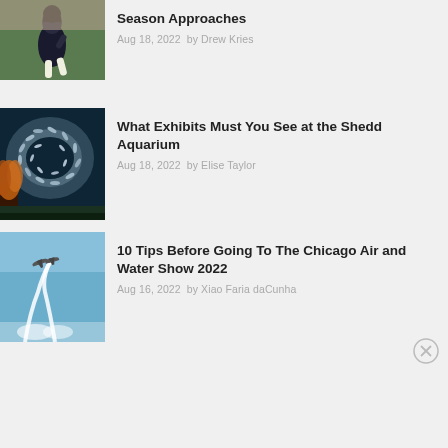[Figure (photo): Football player running on field, partially visible at top of page]
Season Approaches
Aug 18, 2022  by Drew Kries
[Figure (photo): Fish schooling at Shedd Aquarium exhibit]
What Exhibits Must You See at the Shedd Aquarium
Aug 18, 2022  by Elise Taylor
[Figure (photo): Airplanes at Chicago Air and Water Show with smoke trails]
10 Tips Before Going To The Chicago Air and Water Show 2022
Aug 16, 2022  by Xiao Faria daCunha